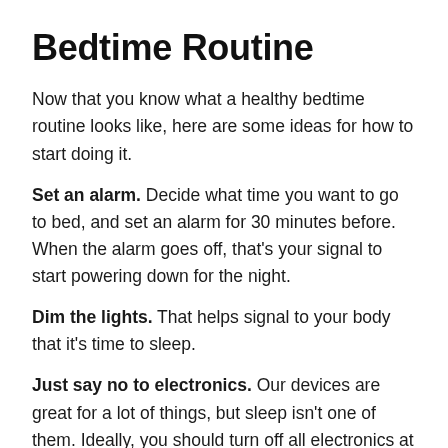Bedtime Routine
Now that you know what a healthy bedtime routine looks like, here are some ideas for how to start doing it.
Set an alarm. Decide what time you want to go to bed, and set an alarm for 30 minutes before. When the alarm goes off, that’s your signal to start powering down for the night.
Dim the lights. That helps signal to your body that it’s time to sleep.
Just say no to electronics. Our devices are great for a lot of things, but sleep isn’t one of them. Ideally, you should turn off all electronics at least 30 minutes before you want to go to sleep. It can be hard to break the habit of watching TV or looking at the internet before bed, but it helps if you have something to replace it with. Try listening to music or a podcast